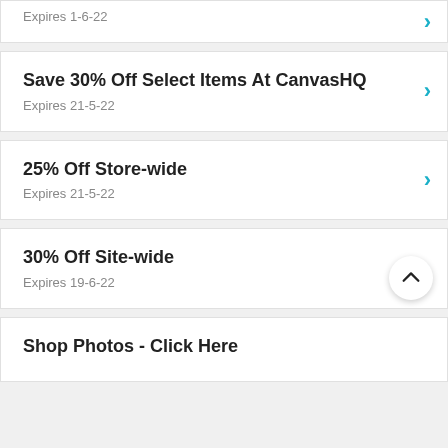Expires 1-6-22
Save 30% Off Select Items At CanvasHQ
Expires 21-5-22
25% Off Store-wide
Expires 21-5-22
30% Off Site-wide
Expires 19-6-22
Shop Photos - Click Here